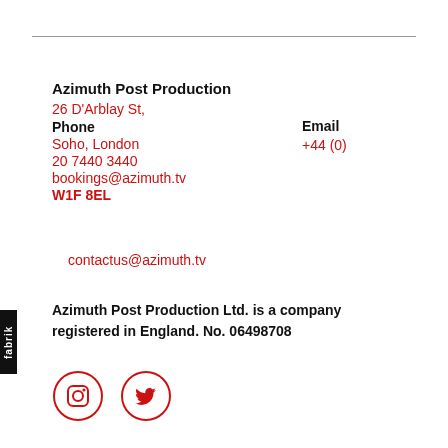Azimuth Post Production
26 D'Arblay St,
Phone
Soho, London
20 7440 3440
 bookings@azimuth.tv
W1F 8EL
Email
+44 (0)
contactus@azimuth.tv
Azimuth Post Production Ltd. is a company registered in England. No. 06498708
[Figure (logo): Instagram and Twitter social media icons in red circles]
fabrik